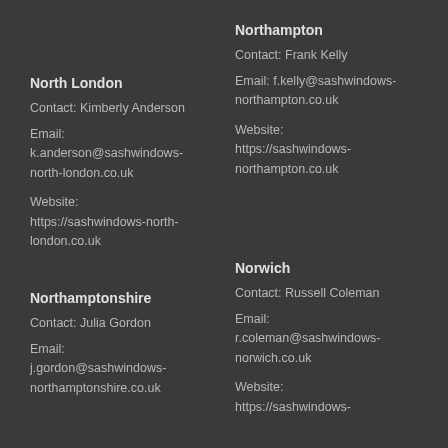North London
Contact: Kimberly Anderson
Email: k.anderson@sashwindows-north-london.co.uk
Website: https://sashwindows-north-london.co.uk
Northamptonshire
Contact: Julia Gordon
Email: j.gordon@sashwindows-northamptonshire.co.uk
Northampton
Contact: Frank Kelly
Email: f.kelly@sashwindows-northampton.co.uk
Website: https://sashwindows-northampton.co.uk
Norwich
Contact: Russell Coleman
Email: r.coleman@sashwindows-norwich.co.uk
Website: https://sashwindows-